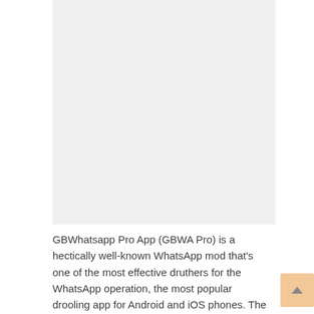[Figure (other): Large blank/white image placeholder area at the top of the page]
GBWhatsapp Pro App (GBWA Pro) is a hectically well-known WhatsApp mod that's one of the most effective druthers for the WhatsApp operation, the most popular drooling app for Android and iOS phones. The creation of Android